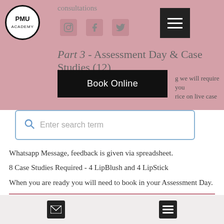[Figure (logo): PMU Academy circular logo with black border]
consultations
Part 3 - Assessment Day & Case Studies (12)
Book Online
g we will require you rice on live case study models from your own clinic, salon or ed in your family.
These case studies are submitted via a Whatsapp Message, feedback is given via spreadsheet.
8 Case Studies Required - 4 LipBlush and 4 LipStick
When you are ready you will need to book in your Assessment Day.
Schedule of Learning
In this course you will learn all three areas